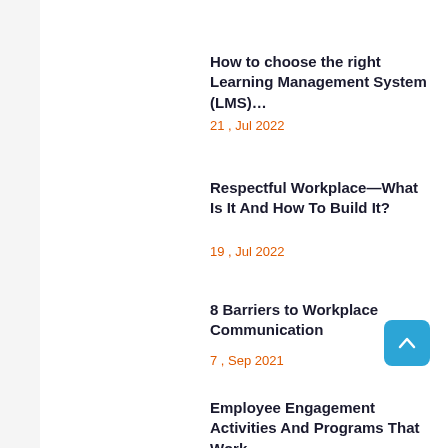How to choose the right Learning Management System (LMS)…
21 , Jul 2022
Respectful Workplace—What Is It And How To Build It?
19 , Jul 2022
8 Barriers to Workplace Communication
7 , Sep 2021
Employee Engagement Activities And Programs That Work